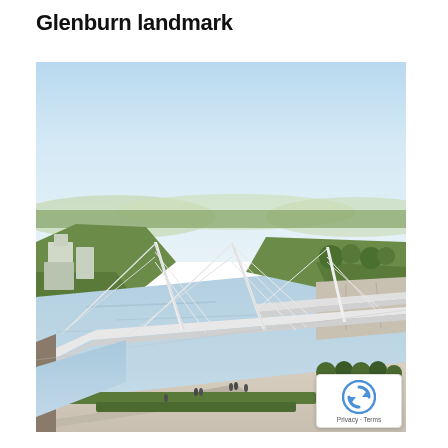Glenburn landmark
[Figure (illustration): Aerial architectural rendering of a modern cable-stayed pedestrian bridge spanning a wide river. The bridge features white inclined pylons with cable stays. Green parklands and trees line both riverbanks. A riverside promenade with people walking is visible in the foreground. Buildings and urban development visible on the left bank. Sky is light blue with hazy clouds.]
[Figure (logo): reCAPTCHA badge with circular arrow icon and 'Privacy - Terms' text]